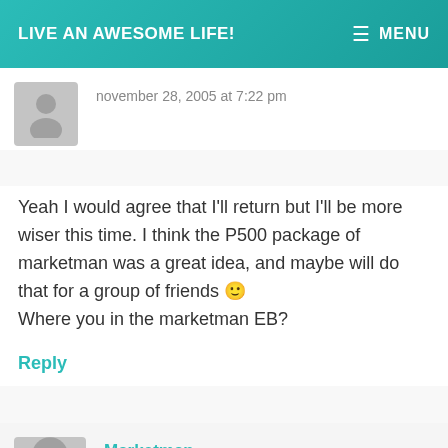LIVE AN AWESOME LIFE!  MENU
november 28, 2005 at 7:22 pm
Yeah I would agree that I'll return but I'll be more wiser this time. I think the P500 package of marketman was a great idea, and maybe will do that for a group of friends 🙂
Where you in the marketman EB?
Reply
Marketman
december 22, 2005 at 11:16 pm